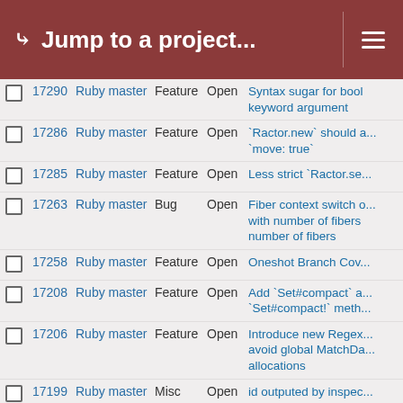Jump to a project...
|  | # | Project | Type | Status | Subject |
| --- | --- | --- | --- | --- | --- |
|  | 17290 | Ruby master | Feature | Open | Syntax sugar for bool keyword argument |
|  | 17286 | Ruby master | Feature | Open | `Ractor.new` should allow `move: true` |
|  | 17285 | Ruby master | Feature | Open | Less strict `Ractor.se... |
|  | 17263 | Ruby master | Bug | Open | Fiber context switch with number of fibers number of fibers |
|  | 17258 | Ruby master | Feature | Open | Oneshot Branch Cov... |
|  | 17208 | Ruby master | Feature | Open | Add `Set#compact` and `Set#compact!` meth... |
|  | 17206 | Ruby master | Feature | Open | Introduce new Regex... avoid global MatchDa... allocations |
|  | 17199 | Ruby master | Misc | Open | id outputed by inspect output does not allow actual object_id and v... |
|  | 17180 | Ruby master | Bug | Open | Ractor and constant i... |
|  | 17174 | Ruby master | Misc | Open | "Error relocating, sym found" error when co... native extension on A... Ruby >=2.4 |